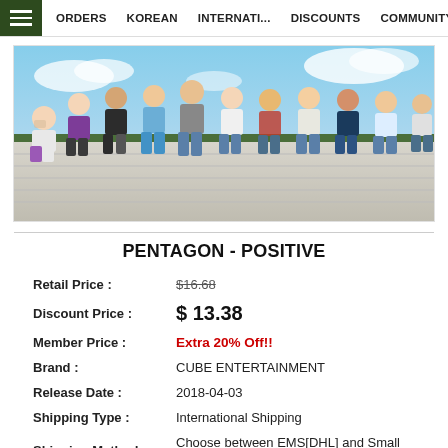ORDERS  KOREAN  INTERNATI...  DISCOUNTS  COMMUNITY
[Figure (photo): Group photo of K-pop group Pentagon posing outdoors on bleacher steps against a blue sky background. Members are wearing casual summer outfits in white, purple, denim, and grey.]
PENTAGON - POSITIVE
| Field | Value |
| --- | --- |
| Retail Price : | $16.68 |
| Discount Price : | $ 13.38 |
| Member Price : | Extra 20% Off!! |
| Brand : | CUBE ENTERTAINMENT |
| Release Date : | 2018-04-03 |
| Shipping Type : | International Shipping |
| Shipping Method : | Choose between EMS[DHL] and Small Packets |